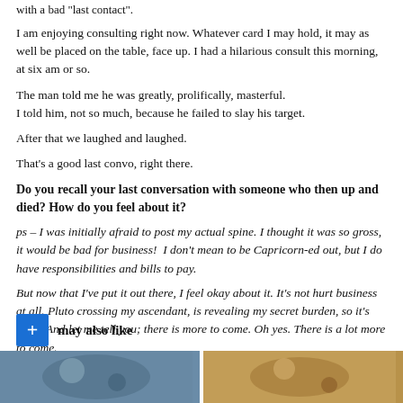with a bad 'last contact'.
I am enjoying consulting right now. Whatever card I may hold, it may as well be placed on the table, face up. I had a hilarious consult this morning, at six am or so.
The man told me he was greatly, prolifically, masterful. I told him, not so much, because he failed to slay his target.
After that we laughed and laughed.
That's a good last convo, right there.
Do you recall your last conversation with someone who then up and died? How do you feel about it?
ps – I was initially afraid to post my actual spine. I thought it was so gross, it would be bad for business!  I don't mean to be Capricorn-ed out, but I do have responsibilities and bills to pay.
But now that I've put it out there, I feel okay about it. It's not hurt business at all. Pluto crossing my ascendant, is revealing my secret burden, so it's right. And let me tell you; there is more to come. Oh yes. There is a lot more to come.
You may also like
[Figure (photo): Two thumbnail images at the bottom of the page]
[Figure (photo): Right thumbnail image at the bottom of the page]